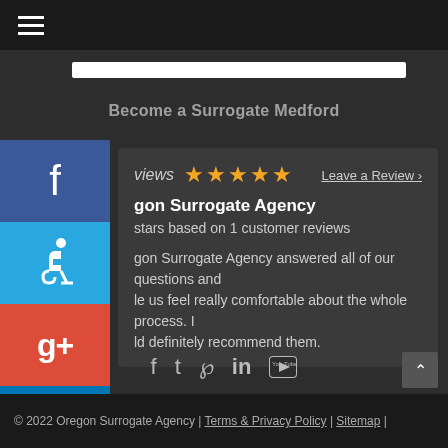☰ (hamburger menu)
Become a Surrogate Medford
reviews ★★★★★ Leave a Review ›
Oregon Surrogate Agency
stars based on 1 customer reviews
Oregon Surrogate Agency answered all of our questions and made us feel really comfortable about the whole process. I would definitely recommend them.
© 2022 Oregon Surrogate Agency | Terms & Privacy Policy | Sitemap |